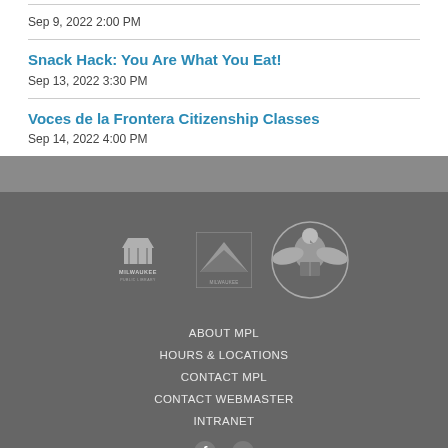Sep 9, 2022 2:00 PM
Snack Hack: You Are What You Eat!
Sep 13, 2022 3:30 PM
Voces de la Frontera Citizenship Classes
Sep 14, 2022 4:00 PM
[Figure (logo): Milwaukee Public Library logo, Milwaukee city logo, and American Library Association eagle logo]
ABOUT MPL
HOURS & LOCATIONS
CONTACT MPL
CONTACT WEBMASTER
INTRANET